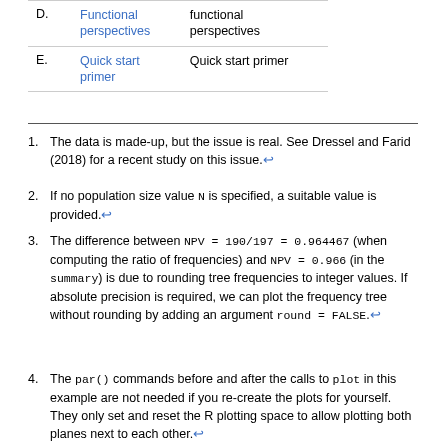|  | Link | Description |
| --- | --- | --- |
| D. | Functional perspectives | functional perspectives |
| E. | Quick start primer | Quick start primer |
The data is made-up, but the issue is real. See Dressel and Farid (2018) for a recent study on this issue.↩
If no population size value N is specified, a suitable value is provided.↩
The difference between NPV = 190/197 = 0.964467 (when computing the ratio of frequencies) and NPV = 0.966 (in the summary) is due to rounding tree frequencies to integer values. If absolute precision is required, we can plot the frequency tree without rounding by adding an argument round = FALSE.↩
The par() commands before and after the calls to plot in this example are not needed if you re-create the plots for yourself. They only set and reset the R plotting space to allow plotting both planes next to each other.↩